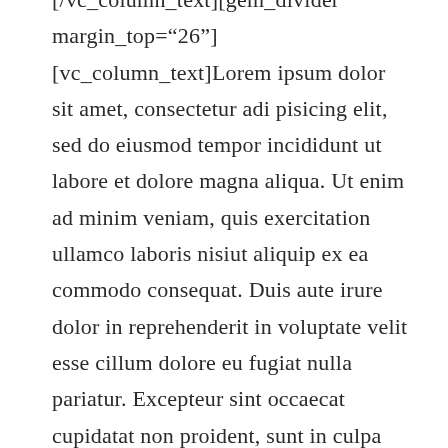[/vc_column_text][gem_divider margin_top="26"] [vc_column_text]Lorem ipsum dolor sit amet, consectetur adi pisicing elit, sed do eiusmod tempor incididunt ut labore et dolore magna aliqua. Ut enim ad minim veniam, quis exercitation ullamco laboris nisiut aliquip ex ea commodo consequat. Duis aute irure dolor in reprehenderit in voluptate velit esse cillum dolore eu fugiat nulla pariatur. Excepteur sint occaecat cupidatat non proident, sunt in culpa qui officia deserunt mollit anim id est laborum. Sed ut perspiciatis